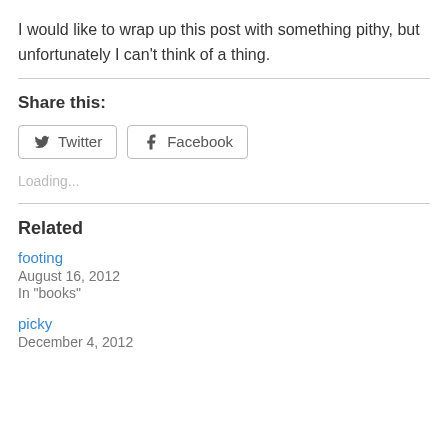I would like to wrap up this post with something pithy, but unfortunately I can't think of a thing.
Share this:
[Figure (other): Share buttons for Twitter and Facebook]
Loading...
Related
footing
August 16, 2012
In "books"
picky
December 4, 2012